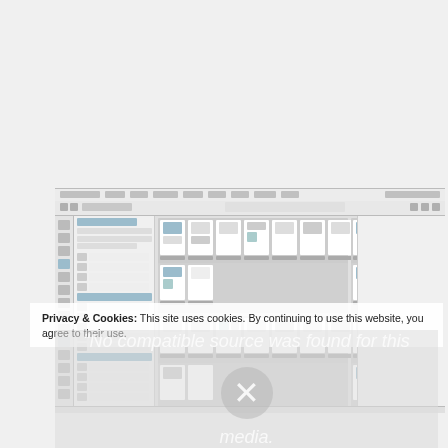[Figure (screenshot): Screenshot of a desktop publishing or layout application (appears to be Adobe InDesign or similar) showing a document with multiple page thumbnails arranged in rows, with toolbars, panels, and a large white canvas area on the right side.]
Privacy & Cookies: This site uses cookies. By continuing to use this website, you agree to their use.
No compatible source was found for this media.